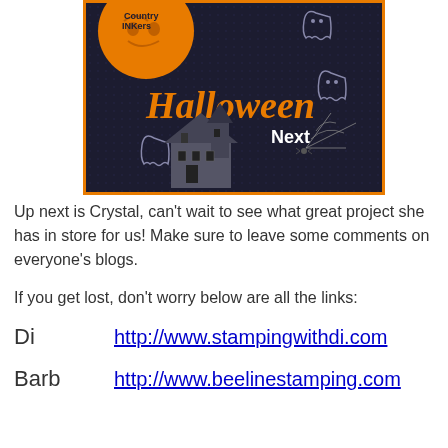[Figure (illustration): Halloween themed image with dark dotted background, orange pumpkin, ghosts, haunted house, spider web, 'Country INKers' text, 'Halloween' in orange letters, and 'Next' in white text]
Up next is Crystal, can't wait to see what great project she has in store for us! Make sure to leave some comments on everyone's blogs.
If you get lost, don't worry below are all the links:
Di          http://www.stampingwithdi.com
Barb     http://www.beelinestamping.com